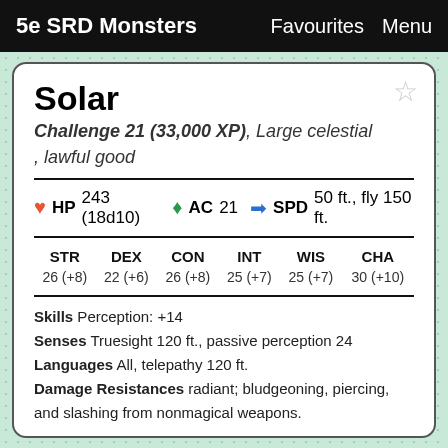5e SRD Monsters    Favourites  Menu
Solar
Challenge 21 (33,000 XP), Large celestial , lawful good
|  | HP |  | AC |  | SPD |
| --- | --- | --- | --- | --- | --- |
| ♥ | 243 (18d10) | ♦ | 21 | ➡ | 50 ft., fly 150 ft. |
| STR | DEX | CON | INT | WIS | CHA |
| --- | --- | --- | --- | --- | --- |
| 26 (+8) | 22 (+6) | 26 (+8) | 25 (+7) | 25 (+7) | 30 (+10) |
Skills Perception: +14
Senses Truesight 120 ft., passive perception 24
Languages All, telepathy 120 ft.
Damage Resistances radiant; bludgeoning, piercing, and slashing from nonmagical weapons.